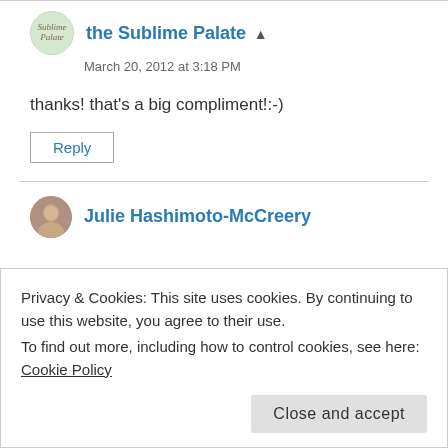the Sublime Palate [admin icon]
March 20, 2012 at 3:18 PM
thanks! that's a big compliment!:-)
Reply
Julie Hashimoto-McCreery
Privacy & Cookies: This site uses cookies. By continuing to use this website, you agree to their use.
To find out more, including how to control cookies, see here: Cookie Policy
Close and accept
appetizing!